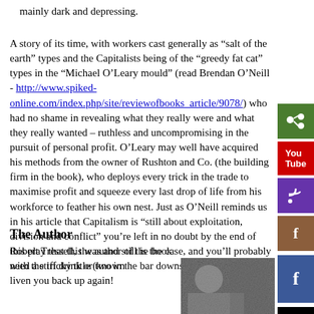mainly dark and depressing.
A story of its time, with workers cast generally as “salt of the earth” types and the Capitalists being of the “greedy fat cat” types in the “Michael O’Leary mould” (read Brendan O’Neill - http://www.spiked-online.com/index.php/site/reviewofbooks_article/9078/) who had no shame in revealing what they really were and what they really wanted – ruthless and uncompromising in the pursuit of personal profit. O’Leary may well have acquired his methods from the owner of Rushton and Co. (the building firm in the book), who deploys every trick in the trade to maximise profit and squeeze every last drop of life from his workforce to feather his own nest. Just as O’Neill reminds us in his article that Capitalism is “still about exploitation, division and conflict” you’re left in no doubt by the end of this play that this was and still is the case, and you’ll probably need a stiff drink or two in the bar downstairs afterwards to liven you back up again!
The Author
Robert Tressell, the author of the book with the tricky title (known
[Figure (photo): Grainy black and white photo, partially visible at bottom right]